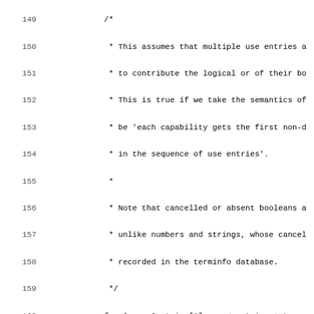Source code listing, lines 149-181, C code with comments and control flow for boolean/number case handling in terminfo database.